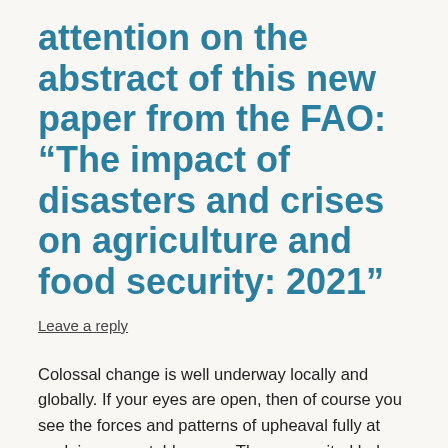attention on the abstract of this new paper from the FAO: “The impact of disasters and crises on agriculture and food security: 2021”
Leave a reply
Colossal change is well underway locally and globally. If your eyes are open, then of course you see the forces and patterns of upheaval fully at work in uncountable ways. The paper cited below from the UN’s Food and Agriculture Organization (FAO) sends this message resoundingly and with yet more data.
In response to the global reality we share, the challenge for all is to create and sustain life systems that not only survive